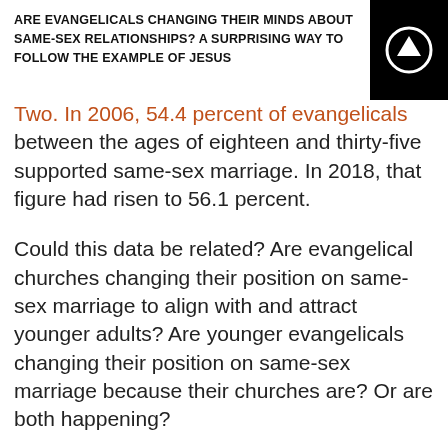ARE EVANGELICALS CHANGING THEIR MINDS ABOUT SAME-SEX RELATIONSHIPS? A SURPRISING WAY TO FOLLOW THE EXAMPLE OF JESUS
Two. In 2006, 54.4 percent of evangelicals between the ages of eighteen and thirty-five supported same-sex marriage. In 2018, that figure had risen to 56.1 percent.
Could this data be related? Are evangelical churches changing their position on same-sex marriage to align with and attract younger adults? Are younger evangelicals changing their position on same-sex marriage because their churches are? Or are both happening?
WHEN PERCEPTION IS REALITY
For twenty centuries, orthodox Christians have known that the Bible forbids same-sex sexual relations. (For more, see my website paper, “What